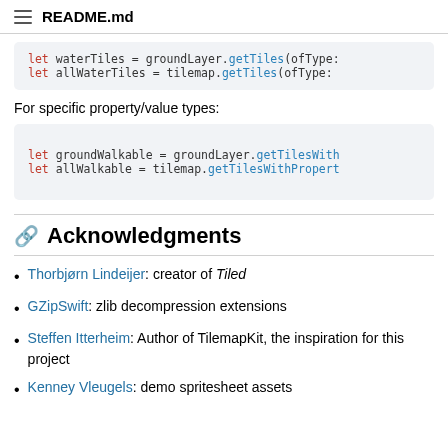README.md
let waterTiles = groundLayer.getTiles(ofType:
let allWaterTiles = tilemap.getTiles(ofType:
For specific property/value types:
let groundWalkable = groundLayer.getTilesWith
let allWalkable = tilemap.getTilesWithPropert
Acknowledgments
Thorbjørn Lindeijer: creator of Tiled
GZipSwift: zlib decompression extensions
Steffen Itterheim: Author of TilemapKit, the inspiration for this project
Kenney Vleugels: demo spritesheet assets